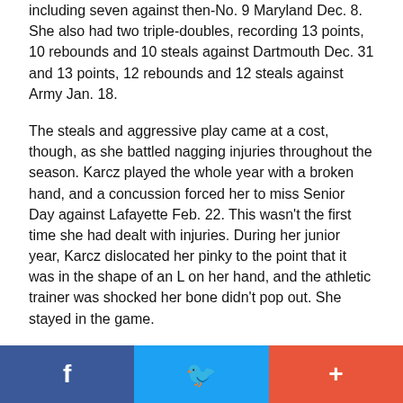including seven against then-No. 9 Maryland Dec. 8. She also had two triple-doubles, recording 13 points, 10 rebounds and 10 steals against Dartmouth Dec. 31 and 13 points, 12 rebounds and 12 steals against Army Jan. 18.
The steals and aggressive play came at a cost, though, as she battled nagging injuries throughout the season. Karcz played the whole year with a broken hand, and a concussion forced her to miss Senior Day against Lafayette Feb. 22. This wasn't the first time she had dealt with injuries. During her junior year, Karcz dislocated her pinky to the point that it was in the shape of an L on her hand, and the athletic trainer was shocked her bone didn't pop out. She stayed in the game.
The training staff tried to get Karcz to focus on hand placement when going for steals, but that never quite